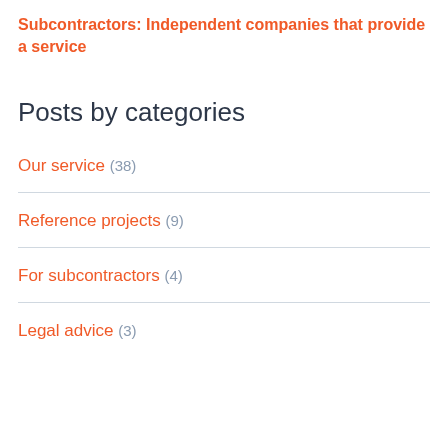Subcontractors: Independent companies that provide a service
Posts by categories
Our service (38)
Reference projects (9)
For subcontractors (4)
Legal advice (3)